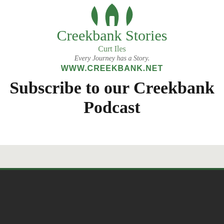[Figure (logo): Creekbank Stories logo with green tree/leaf icon at top, brand name, author name Curt Iles, tagline Every Journey has a Story, and website URL WWW.CREEKBANK.NET]
Subscribe to our Creekbank Podcast
ABOUT CURT ILES
[Figure (photo): Partial photo of Curt Iles at bottom of page]